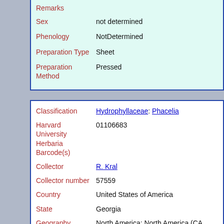| Field | Value |
| --- | --- |
| Remarks |  |
| Sex | not determined |
| Phenology | NotDetermined |
| Preparation Type | Sheet |
| Preparation Method | Pressed |
| Field | Value |
| --- | --- |
| Classification | Hydrophyllaceae: Phacelia |
| Harvard University Herbaria Barcode(s) | 01106683 |
| Collector | R. Kral |
| Collector number | 57559 |
| Country | United States of America |
| State | Georgia |
| Geography | North America: North America (CA, US, MX) (Region): United States of America: Georgia: Columbia County |
| Locality | [data not captured] |